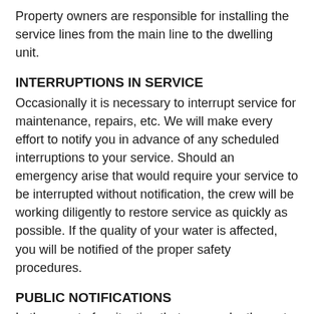Property owners are responsible for installing the service lines from the main line to the dwelling unit.
INTERRUPTIONS IN SERVICE
Occasionally it is necessary to interrupt service for maintenance, repairs, etc. We will make every effort to notify you in advance of any scheduled interruptions to your service. Should an emergency arise that would require your service to be interrupted without notification, the crew will be working diligently to restore service as quickly as possible. If the quality of your water is affected, you will be notified of the proper safety procedures.
PUBLIC NOTIFICATIONS
In the event of a situation that may make the water unsafe, public notification will be advertised on the radio, posted publicly in the community and posted here. You will receive information regarding the nature of the problem, instructions for protecting yourself if necessary and what is being done to correct the problem.